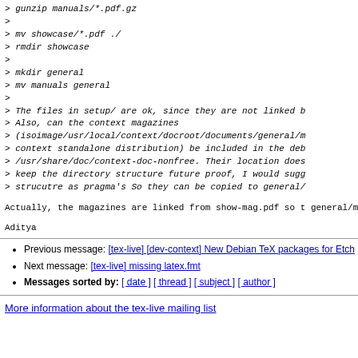> gunzip manuals/*.pdf.gz
>
> mv showcase/*.pdf ./
> rmdir showcase
>
> mkdir general
> mv manuals general
>
> The files in setup/ are ok, since they are not linked b
> Also, can the context magazines
> (isoimage/usr/local/context/docroot/documents/general/m
> context standalone distribution) be included in the deb
> /usr/share/doc/context-doc-nonfree. Their location does
> keep the directory structure future proof, I would sugg
> strucutre as pragma's So they can be copied to general/
Actually, the magazines are linked from show-mag.pdf so t
general/magazines/ directory.
Aditya
Previous message: [tex-live] [dev-context] New Debian TeX packages for Etch
Next message: [tex-live] missing latex.fmt
Messages sorted by: [ date ] [ thread ] [ subject ] [ author ]
More information about the tex-live mailing list